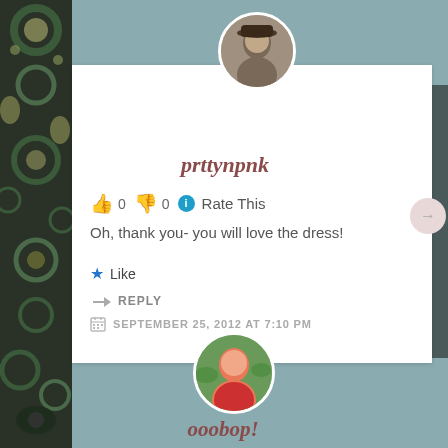[Figure (screenshot): Blog comment section screenshot showing user prttynpnk comment with rating icons, comment text, like/reply buttons, and date. Below is a second user avatar ooobop!]
prttynpnk
👍 0 👎 0 ℹ Rate This
Oh, thank you- you will love the dress!
★ Like
↪ REPLY
SEPTEMBER 25, 2012 AT 7:10 PM
ooobop!